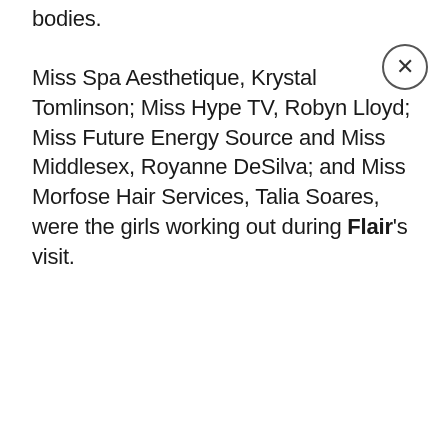bodies.

Miss Spa Aesthetique, Krystal Tomlinson; Miss Hype TV, Robyn Lloyd; Miss Future Energy Source and Miss Middlesex, Royanne DeSilva; and Miss Morfose Hair Services, Talia Soares, were the girls working out during Flair's visit.
ADVERTISEMENT
[Figure (other): Advertisement placeholder box (grey rectangle)]